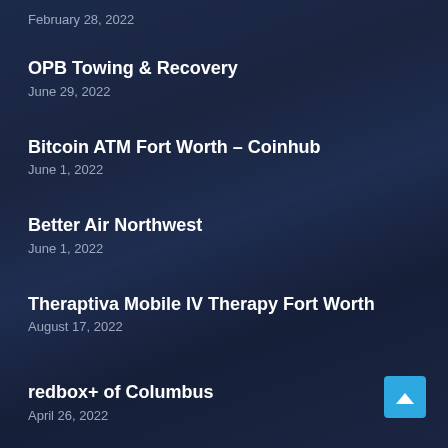February 28, 2022
OPB Towing & Recovery
June 29, 2022
Bitcoin ATM Fort Worth – Coinhub
June 1, 2022
Better Air Northwest
June 1, 2022
Theraptiva Mobile IV Therapy Fort Worth
August 17, 2022
redbox+ of Columbus
April 26, 2022